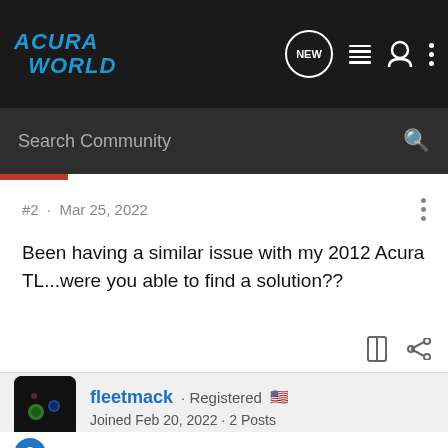ACURA WORLD
Search Community
#2 · Mar 25, 2022
Been having a similar issue with my 2012 Acura TL...were you able to find a solution??
fleetmack · Registered 🇺🇸
Joined Feb 20, 2022 · 2 Posts
Discussion Starter · #3 · Mar 25, 2022